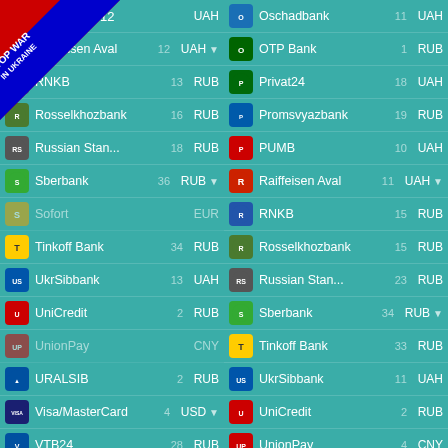[Figure (infographic): Stop War In Ukraine diagonal banner in top-left corner]
12 UAH
Oschadbank 11 UAH
Raiffeisen Aval 12 UAH
OTP Bank 1 RUB
RNKB 13 RUB
Privat24 18 UAH
Rosselkhozbank 16 RUB
Promsvyazbank 19 RUB
Russian Stan... 18 RUB
PUMB 10 UAH
Sberbank 36 RUB
Raiffeisen Aval 11 UAH
Sofort EUR (disabled)
RNKB 15 RUB
Tinkoff Bank 34 RUB
Rosselkhozbank 15 RUB
UkrSibbank 13 UAH
Russian Stan... 23 RUB
UniCredit 2 RUB
Sberbank 34 RUB
UnionPay CNY (disabled)
Tinkoff Bank 33 RUB
URALSIB 2 RUB
UkrSibbank 11 UAH
Visa/MasterCard 4 USD
UniCredit 2 RUB
VTB24 28 RUB
UnionPay 4 CNY
Money transfers
URALSIB 2 RUB
Wire (SEPA) 1 EUR
Visa/MasterCard 5 USD